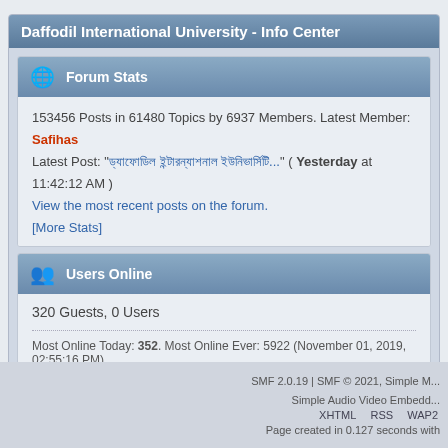Daffodil International University - Info Center
Forum Stats
153456 Posts in 61480 Topics by 6937 Members. Latest Member: Safihas
Latest Post: "ড্যাফোডিল ইন্টারন্যাশনাল ইউনিভার্সিটি..." ( Yesterday at 11:42:12 AM )
View the most recent posts on the forum.
[More Stats]
Users Online
320 Guests, 0 Users
Most Online Today: 352. Most Online Ever: 5922 (November 01, 2019, 02:55:16 PM)
SMF 2.0.19 | SMF © 2021, Simple M...
Simple Audio Video Embedd...
XHTML   RSS   WAP2
Page created in 0.127 seconds with